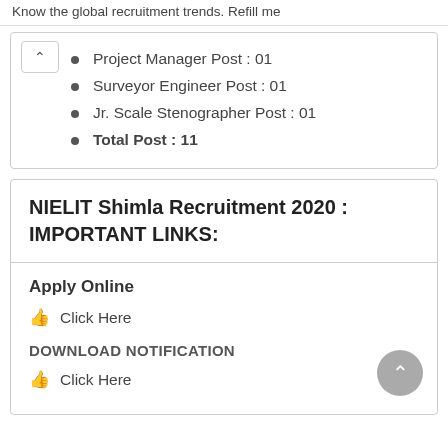Know the global recruitment trends. Refill me
Project Manager Post : 01
Surveyor Engineer Post : 01
Jr. Scale Stenographer Post : 01
Total Post : 11
NIELIT Shimla Recruitment 2020 : IMPORTANT LINKS:
Apply Online
Click Here
DOWNLOAD NOTIFICATION
Click Here